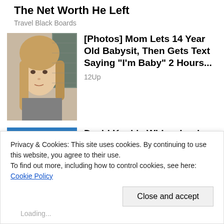The Net Worth He Left
Travel Black Boards
[Figure (photo): Young girl with long blonde hair, photo thumbnail for article]
[Photos] Mom Lets 14 Year Old Babysit, Then Gets Text Saying "I'm Baby" 2 Hours...
12Up
[Figure (photo): Ornate white building facade against blue sky, photo thumbnail for article]
David Koch's Widow Looks to Sell Manhattan Apartment for $60 Million or More
Mansion Global
Privacy & Cookies: This site uses cookies. By continuing to use this website, you agree to their use.
To find out more, including how to control cookies, see here: Cookie Policy
Close and accept
Loading...